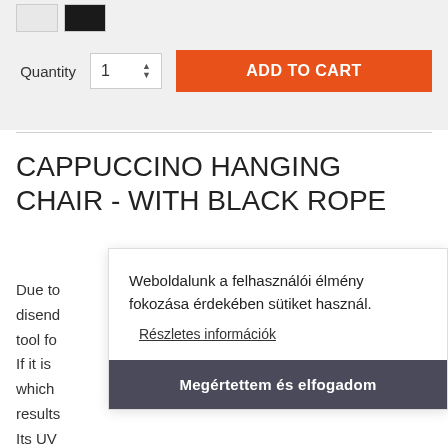[Figure (other): Color swatch selectors: white/cream swatch and black swatch]
Quantity  1  ADD TO CART
CAPPUCCINO HANGING CHAIR - WITH BLACK ROPE
Due to  disend  tool fo  If it is  which  results  Its UV  outdoor use.
Weboldalunk a felhasználói élmény fokozása érdekében sütiket használ.
Részletes információk
Megértettem és elfogadom